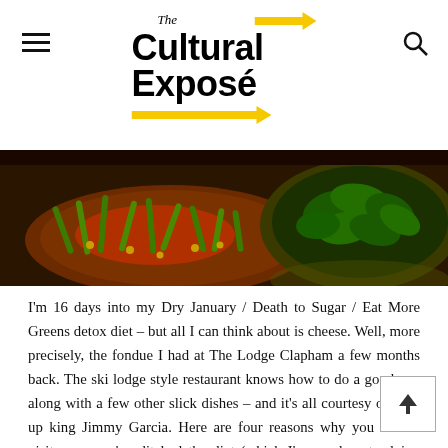The Cultural Exposé
[Figure (photo): Two bowls of food on a dark table — one with green beans and sauce, one with a leafy green salad]
I'm 16 days into my Dry January / Death to Sugar / Eat More Greens detox diet – but all I can think about is cheese. Well, more precisely, the fondue I had at The Lodge Clapham a few months back. The ski lodge style restaurant knows how to do a good one along with a few other slick dishes – and it's all courtesy of pop-up king Jimmy Garcia. Here are four reasons why you should visit once you've ditched the diet (which I'm so close to doing #prayforme):
It's different
This cosy 60-seater has nailed the authentic decor – so if you've can splash out on that holiday to the Swiss alps, at least you can fake it in